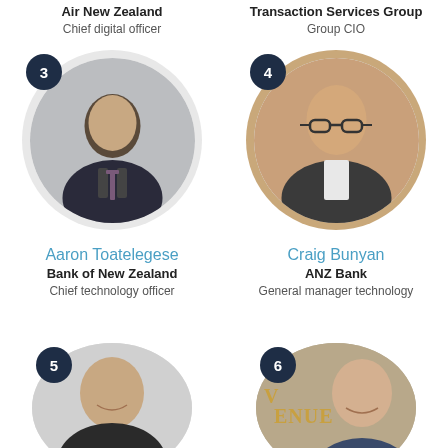Air New Zealand
Chief digital officer
Transaction Services Group
Group CIO
[Figure (photo): Circular portrait photo of Aaron Toatelegese with badge number 3]
[Figure (photo): Circular portrait photo of Craig Bunyan with badge number 4]
Aaron Toatelegese
Bank of New Zealand
Chief technology officer
Craig Bunyan
ANZ Bank
General manager technology
[Figure (photo): Circular portrait photo with badge number 5, person smiling]
[Figure (photo): Circular portrait photo with badge number 6, person smiling, VENUE text visible in background]